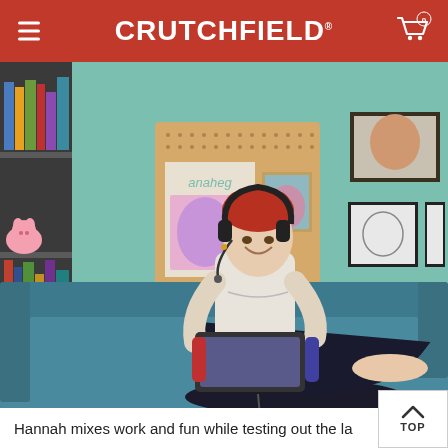CRUTCHFIELD
[Figure (photo): A young woman with red hair sits on a teal sofa wearing headphones and holding a gaming device (Nintendo Switch), smiling. Behind her is a bookshelf on the left and wall art/framed pictures on a mint green wall. She is wearing a white graphic t-shirt and dark jeans.]
Hannah mixes work and fun while testing out the la...